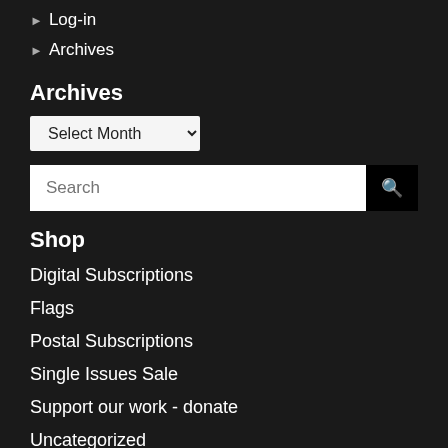Log-in
Archives
Archives
[Figure (screenshot): Dropdown selector with 'Select Month' option]
[Figure (screenshot): Search input field with search button icon]
Shop
Digital Subscriptions
Flags
Postal Subscriptions
Single Issues Sale
Support our work - donate
Uncategorized
WHFR  Books